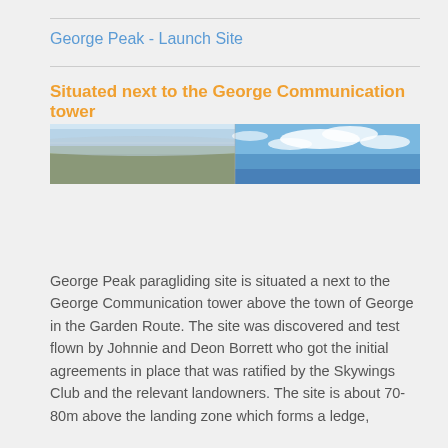George Peak - Launch Site
Situated next to the George Communication tower
[Figure (photo): Wide panoramic photograph split into two halves: left half shows an aerial view of a landscape with curved horizon and haze; right half shows a blue sky with white clouds.]
George Peak paragliding site is situated a next to the George Communication tower above the town of George in the Garden Route. The site was discovered and test flown by Johnnie and Deon Borrett who got the initial agreements in place that was ratified by the Skywings Club and the relevant landowners. The site is about 70-80m above the landing zone which forms a ledge,